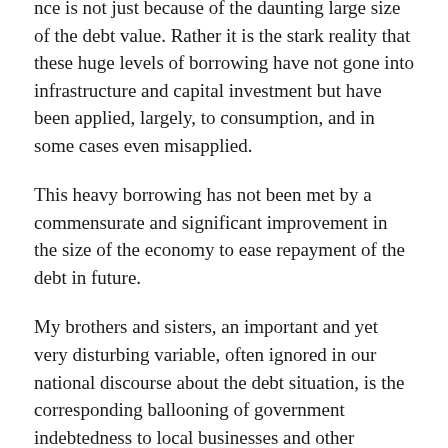nce is not just because of the daunting large size of the debt value. Rather it is the stark reality that these huge levels of borrowing have not gone into infrastructure and capital investment but have been applied, largely, to consumption, and in some cases even misapplied.
This heavy borrowing has not been met by a commensurate and significant improvement in the size of the economy to ease repayment of the debt in future.
My brothers and sisters, an important and yet very disturbing variable, often ignored in our national discourse about the debt situation, is the corresponding ballooning of government indebtedness to local businesses and other statutory bodies including SOEs.
These issues must occupy an important space within national discourse because our estimation is that government's liabilities